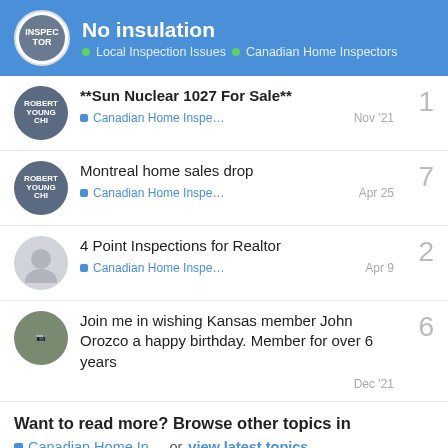No insulation — Local Inspection Issues · Canadian Home Inspectors
**Sun Nuclear 1027 For Sale** — Canadian Home Inspe… — Nov '21 — 1 reply
Montreal home sales drop — Canadian Home Inspe… — Apr 25 — 7 replies
4 Point Inspections for Realtor — Canadian Home Inspe… — Apr 9 — 2 replies
Join me in wishing Kansas member John Orozco a happy birthday. Member for over 6 years — Dec '21 — 6 replies
Want to read more? Browse other topics in Canadian Home In... or view latest topics.